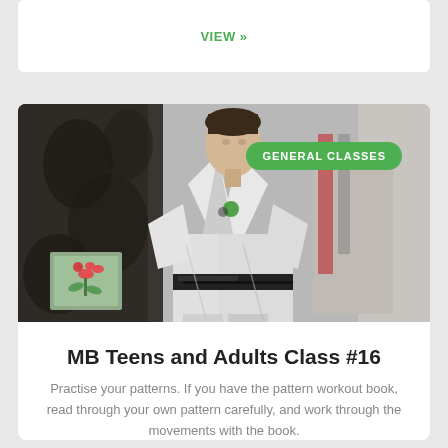VIEW »
[Figure (photo): Person wearing a white martial arts gi (dobok/karate uniform) with a black belt, standing in a room with decorative dark curtains and a framed flower painting on the left. A green badge overlay reads 'GENERAL CLASSES'.]
MB Teens and Adults Class #16
Practise your patterns. If you have the pattern workout book, read through your own pattern carefully, and work through the movements with the book.
VIEW »